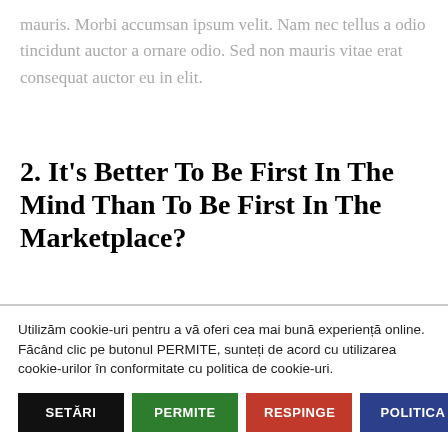mauris. Morbi accumsan ipsum velit. Nam nec tellus a odio tincidunt auctor a ornare odio. Sed non mauris vitae erat consequat auctor eu in elit.
2. It's Better To Be First In The Mind Than To Be First In The Marketplace?
Utilizăm cookie-uri pentru a vă oferi cea mai bună experiență online. Făcând clic pe butonul PERMITE, sunteți de acord cu utilizarea cookie-urilor în conformitate cu politica de cookie-uri.
SETĂRI
PERMITE
RESPINGE
POLITICA